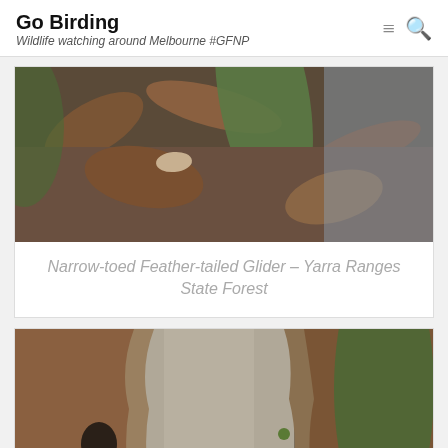Go Birding
Wildlife watching around Melbourne #GFNP
[Figure (photo): Close-up photograph of a Narrow-toed Feather-tailed Glider camouflaged among brown and green eucalyptus leaves and bark in Yarra Ranges State Forest]
Narrow-toed Feather-tailed Glider – Yarra Ranges State Forest
[Figure (photo): Close-up photograph showing the body of a small animal (Narrow-toed Feather-tailed Glider) clinging to bark among peeling eucalyptus bark and green leaves]